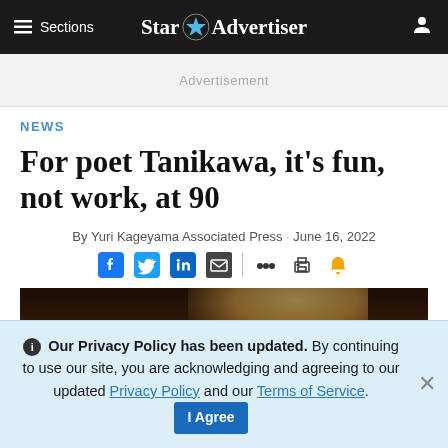≡ Sections   Star Advertiser
NEWS
For poet Tanikawa, it's fun, not work, at 90
By Yuri Kageyama Associated Press · June 16, 2022
[Figure (photo): Partial photo of an interior scene, dark wood ceiling visible]
Our Privacy Policy has been updated. By continuing to use our site, you are acknowledging and agreeing to our updated Privacy Policy and our Terms of Service. I Agree